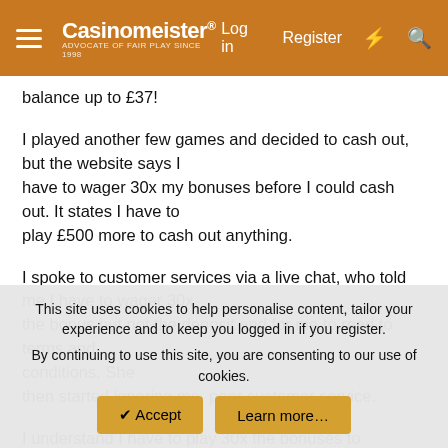Casinomeister® — Advocate of Fair Play Since 1998 | Log in | Register
balance up to £37!
I played another few games and decided to cash out, but the website says I have to wager 30x my bonuses before I could cash out. It states I have to play £500 more to cash out anything.
I spoke to customer services via a live chat, who told me I have to wager 30x the bonus but not the deposit and for me to read to terms and conditions. She then started ignoring me, poor customer service.
I understand I have to play 30x the bonuses to withdraw them
This site uses cookies to help personalise content, tailor your experience and to keep you logged in if you register. By continuing to use this site, you are consenting to our use of cookies.